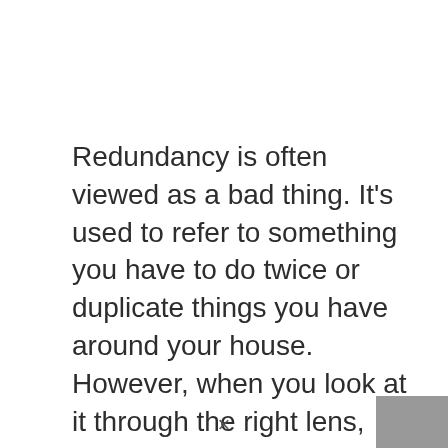Redundancy is often viewed as a bad thing. It's used to refer to something you have to do twice or duplicate things you have around your house. However, when you look at it through the right lens, redundancy can be what saves a bad situation from turning worse.
For example, let's pretend you're miles from civilization, it's getting dark, and...